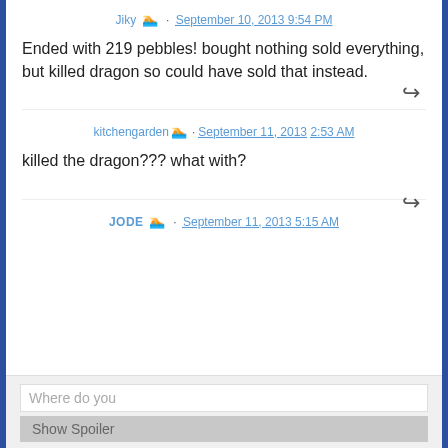Jiky 🏃 · September 10, 2013 9:54 PM
Ended with 219 pebbles! bought nothing sold everything, but killed dragon so could have sold that instead.
kitchengarden 🏃 · September 11, 2013 2:53 AM
killed the dragon??? what with?
JODE 🏃 · September 11, 2013 5:15 AM
Where do you
Show Spoiler